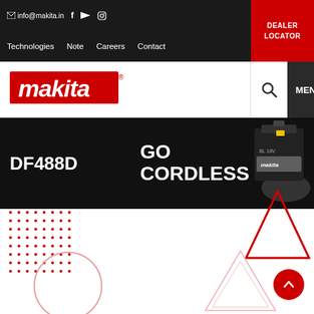info@makita.in  f  ▶  🔲
Technologies  Note  Careers  Contact  DEALER LOCATOR
[Figure (logo): Makita red logo with white stylized text]
[Figure (infographic): Hero banner with DF488D product text, GO CORDLESS text, and Makita battery held in hand]
[Figure (illustration): Decorative red dot grid pattern, red triangle outline, red circle outline, light red triangle outlines, and red scroll-to-top button]